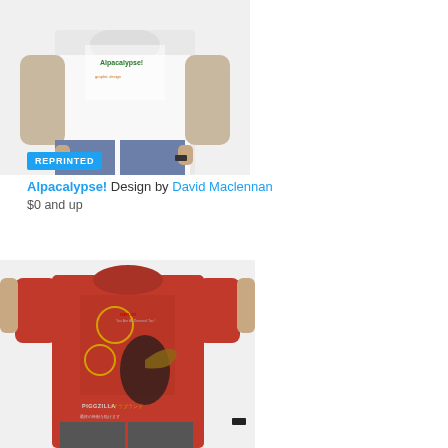[Figure (photo): Man wearing white t-shirt with Alpacalypse graphic design, shown from chest down, hands in pockets, blue pants]
REPRINTED
Alpacalypse! Design by David Maclennan
$0 and up
[Figure (photo): Man wearing red t-shirt with Piggzilla Japanese movie poster graphic design, shown from shoulders down]